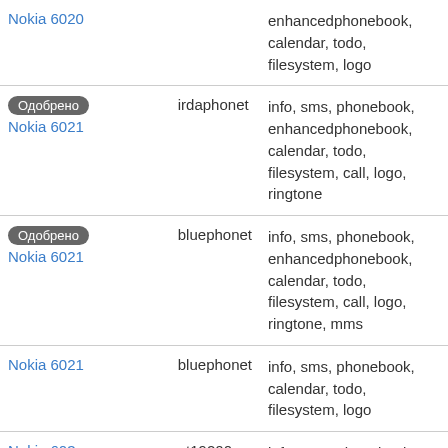| Device | Driver | Features |
| --- | --- | --- |
| Nokia 6020 (partial top) |  | enhancedphonebook, calendar, todo, filesystem, logo |
| Одобрено Nokia 6021 | irdaphonet | info, sms, phonebook, enhancedphonebook, calendar, todo, filesystem, call, logo, ringtone |
| Одобрено Nokia 6021 | bluephonet | info, sms, phonebook, enhancedphonebook, calendar, todo, filesystem, call, logo, ringtone, mms |
| Nokia 6021 | bluephonet | info, sms, phonebook, calendar, todo, filesystem, logo |
| Nokia 603 | at19200 | info, sms, phonebook, enhancedphonebook, calendar, todo, filesystem, call, logo, ringtone, mms |
| Одобрено (partial bottom) | fbus | info, sms, phonebook, ... |